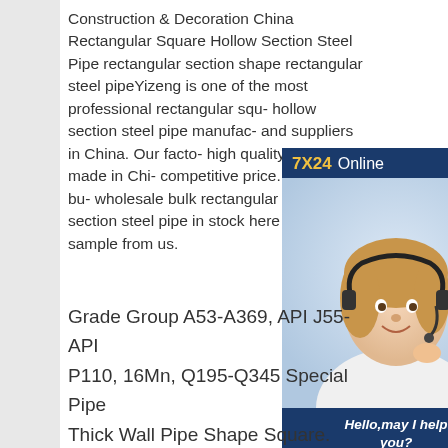Construction & Decoration China Rectangular Square Hollow Section Steel Pipe rectangular section shape rectangular steel pipeYizeng is one of the most professional rectangular square hollow section steel pipe manufacturers and suppliers in China. Our factory has high quality products made in China with competitive price. Welcome to buy or wholesale bulk rectangular square hollow section steel pipe in stock here and get free sample from us.
[Figure (other): Customer support chat widget with '7X24 Online' header in navy blue, photo of a smiling woman with headset, 'Hello,may I help you?' text, and 'Get Latest Price' yellow button]
Grade Group A53-A369, API J55-API P110, 16Mn, Q195-Q345 Special Pipe Thick Wall Pipe Shape Square. Rectangular.Round Standard ASTM,